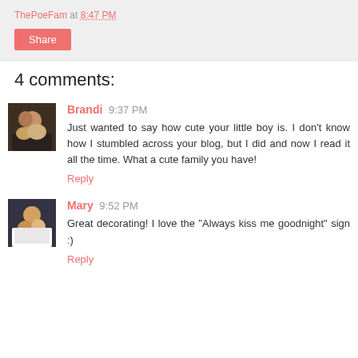ThePoeFam at 8:47 PM
Share
4 comments:
Brandi 9:37 PM
Just wanted to say how cute your little boy is. I don't know how I stumbled across your blog, but I did and now I read it all the time. What a cute family you have!
Reply
Mary 9:52 PM
Great decorating! I love the "Always kiss me goodnight" sign :)
Reply